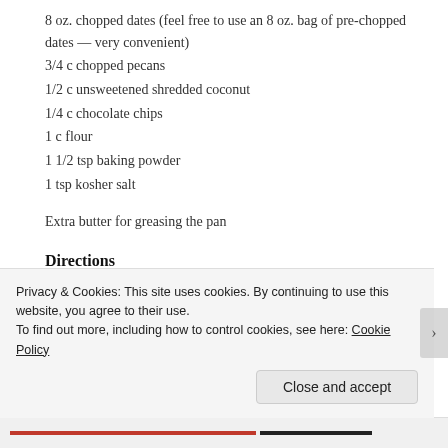8 oz. chopped dates (feel free to use an 8 oz. bag of pre-chopped dates — very convenient)
3/4 c chopped pecans
1/2 c unsweetened shredded coconut
1/4 c chocolate chips
1 c flour
1 1/2 tsp baking powder
1 tsp kosher salt
Extra butter for greasing the pan
Directions
Line a 9×9 inch square baking pan with aluminum foil, and grease the foil with the extra butter. (Yes, really: this is a very sticky batter. If you
Privacy & Cookies: This site uses cookies. By continuing to use this website, you agree to their use.
To find out more, including how to control cookies, see here: Cookie Policy
Close and accept